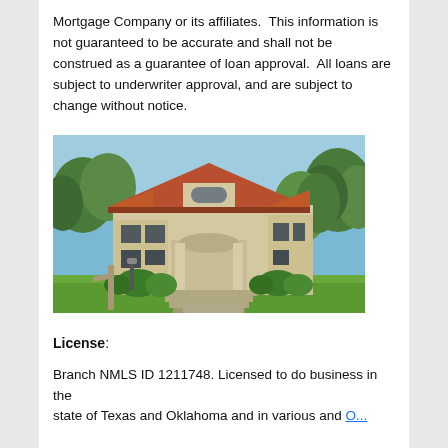Mortgage Company or its affiliates.  This information is not guaranteed to be accurate and shall not be construed as a guarantee of loan approval.  All loans are subject to underwriter approval, and are subject to change without notice.
[Figure (photo): Photograph of a large two-story residential house with Mediterranean/Prairie style architecture, featuring a red tile roof, arched window above the entrance, columned portico with wide steps, beige stucco exterior, and lush green trees and shrubs surrounding the property.]
License:
Branch NMLS ID 1211748. Licensed to do business in the state of Texas and Oklahoma and in various and O...